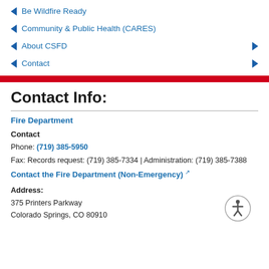Be Wildfire Ready
Community & Public Health (CARES)
About CSFD
Contact
Contact Info:
Fire Department
Contact
Phone: (719) 385-5950
Fax: Records request: (719) 385-7334 | Administration: (719) 385-7388
Contact the Fire Department (Non-Emergency)
Address:
375 Printers Parkway
Colorado Springs, CO 80910